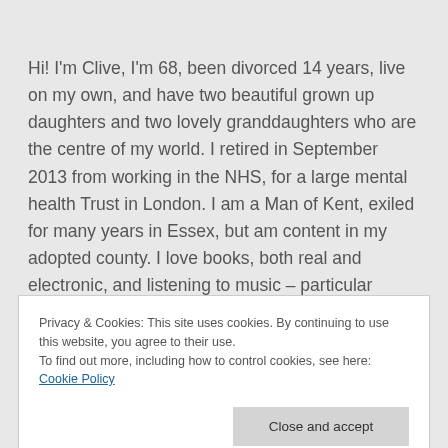Hi! I'm Clive, I'm 68, been divorced 14 years, live on my own, and have two beautiful grown up daughters and two lovely granddaughters who are the centre of my world. I retired in September 2013 from working in the NHS, for a large mental health Trust in London. I am a Man of Kent, exiled for many years in Essex, but am content in my adopted county. I love books, both real and electronic, and listening to music – particular favourites are what might be termed folk, rock
Privacy & Cookies: This site uses cookies. By continuing to use this website, you agree to their use. To find out more, including how to control cookies, see here: Cookie Policy
Close and accept
up, for health reasons, as I also did with live music